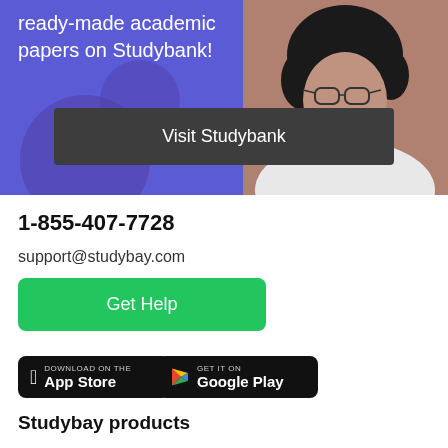[Figure (illustration): Purple banner with text 'ready-made academic papers on Studybank!' and a dark button 'Visit Studybank', with a photo of a woman wearing glasses on the right side]
1-855-407-7728
support@studybay.com
Get Help
[Figure (logo): App Store download badge (black)]
[Figure (logo): Google Play download badge (black)]
Studybay products